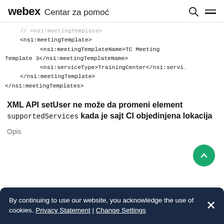webex Centar za pomoć
</ns1:meetingTemplate>
    <ns1:meetingTemplate>
        <ns1:meetingTemplateName>TC Meeting Template 3</ns1:meetingTemplateName>
        <ns1:serviceType>TrainingCenter</ns1:serviceType>
    </ns1:meetingTemplate>
</ns1:meetingTemplates>
XML API setUser ne može da promeni element supportedServices kada je sajt CI objedinjena lokacija
Opis
By continuing to use our website, you acknowledge the use of cookies. Privacy Statement | Change Settings